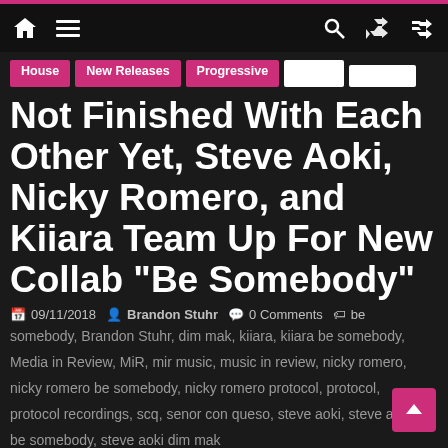Navigation header with home icon, menu icon, search icon, and shuffle icon
House | New Releases | Progressive | [blank] | [blank]
Not Finished With Each Other Yet, Steve Aoki, Nicky Romero, and Kiiara Team Up For New Collab "Be Somebody"
09/11/2018  Brandon Stuhr  0 Comments  be somebody, Brandon Stuhr, dim mak, kiiara, kiiara be somebody, Media in Review, MiR, mir music, music in review, nicky romero, nicky romero be somebody, nicky romero protocol, protocol, protocol recordings, scq, senor con queso, steve aoki, steve aoki be somebody, steve aoki dim mak